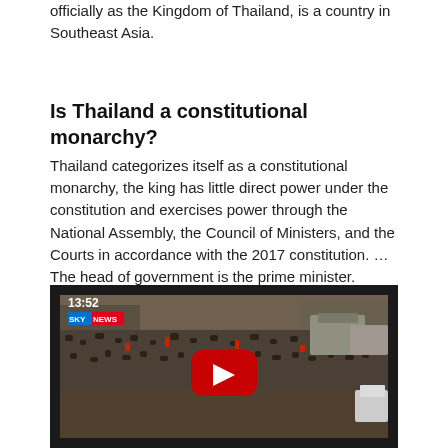officially as the Kingdom of Thailand, is a country in Southeast Asia.
Is Thailand a constitutional monarchy?
Thailand categorizes itself as a constitutional monarchy, the king has little direct power under the constitution and exercises power through the National Assembly, the Council of Ministers, and the Courts in accordance with the 2017 constitution. … The head of government is the prime minister.
[Figure (screenshot): Sky News video screenshot showing a large crowd of people gathered in a street in Thailand, with a YouTube play button overlay. A timestamp '13:52' and Sky News logo are visible in the upper left.]